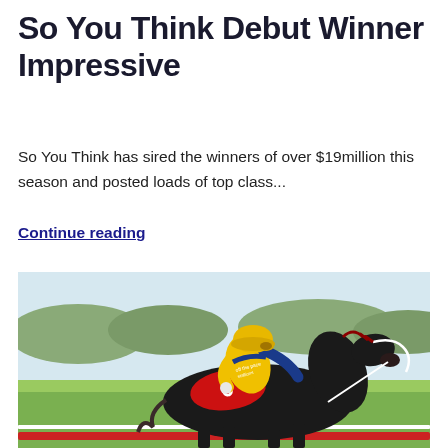So You Think Debut Winner Impressive
So You Think has sired the winners of over $19million this season and posted loads of top class…
Continue reading
[Figure (photo): A jockey wearing yellow helmet and yellow/navy silks riding a dark black horse during a race. The horse wears a red saddlecloth with number 6. A white rail is visible in the background along with green grass and trees.]